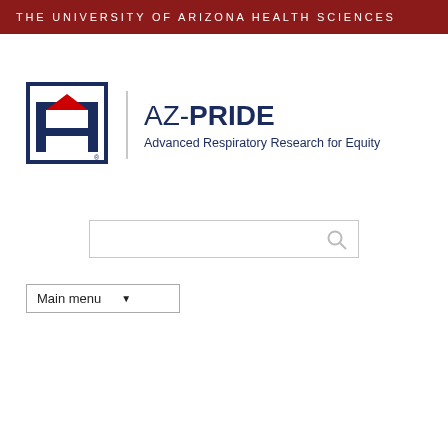THE UNIVERSITY OF ARIZONA HEALTH SCIENCES
[Figure (logo): University of Arizona logo with block letter A in navy blue and red, with registered trademark symbol]
AZ-PRIDE Advanced Respiratory Research for Equity
[Figure (screenshot): Search input box with magnifying glass icon]
Main menu ▼